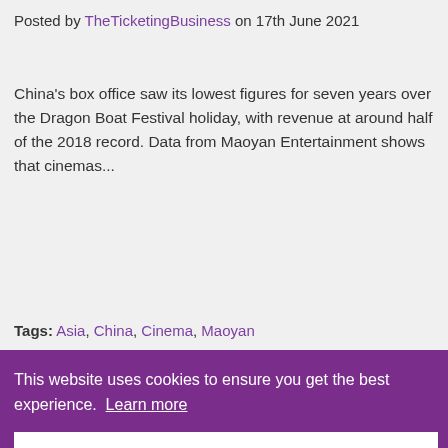Posted by TheTicketingBusiness on 17th June 2021
China's box office saw its lowest figures for seven years over the Dragon Boat Festival holiday, with revenue at around half of the 2018 record. Data from Maoyan Entertainment shows that cinemas...
Tags: Asia, China, Cinema, Maoyan Entertainment
This website uses cookies to ensure you get the best experience. Learn more
Accept
[Figure (photo): Bottom strip showing partial image of boats or water scene]